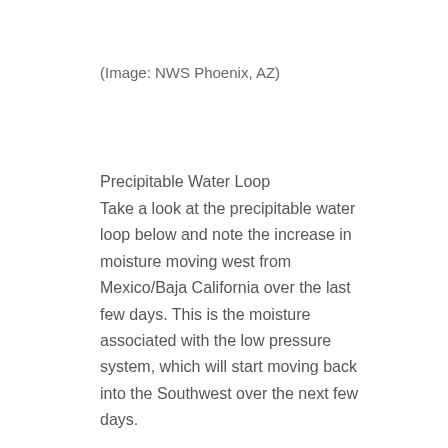(Image: NWS Phoenix, AZ)
Precipitable Water Loop
Take a look at the precipitable water loop below and note the increase in moisture moving west from Mexico/Baja California over the last few days. This is the moisture associated with the low pressure system, which will start moving back into the Southwest over the next few days.